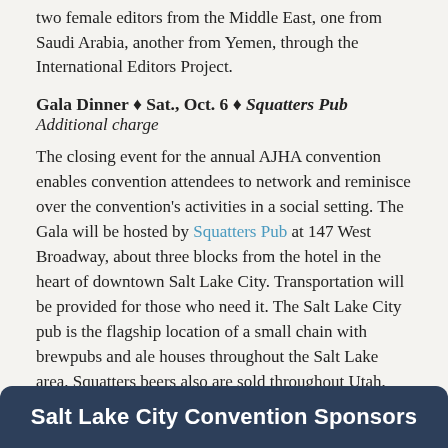two female editors from the Middle East, one from Saudi Arabia, another from Yemen, through the International Editors Project.
Gala Dinner ♦ Sat., Oct. 6 ♦ Squatters Pub
Additional charge
The closing event for the annual AJHA convention enables convention attendees to network and reminisce over the convention's activities in a social setting. The Gala will be hosted by Squatters Pub at 147 West Broadway, about three blocks from the hotel in the heart of downtown Salt Lake City. Transportation will be provided for those who need it. The Salt Lake City pub is the flagship location of a small chain with brewpubs and ale houses throughout the Salt Lake area. Squatters beers also are sold throughout Utah, bottled in cooperation with Wasatch Brewery.
Salt Lake City Convention Sponsors